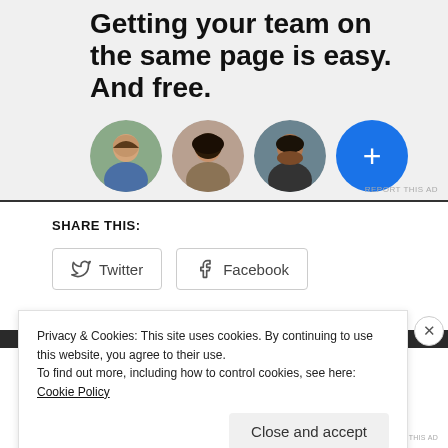[Figure (illustration): Advertisement banner with bold text 'Getting your team on the same page is easy. And free.' with three circular avatar photos and a blue plus button on a light grey background. 'REPORT THIS AD' text in bottom right.]
SHARE THIS:
Twitter  Facebook
Privacy & Cookies: This site uses cookies. By continuing to use this website, you agree to their use.
To find out more, including how to control cookies, see here: Cookie Policy
Close and accept